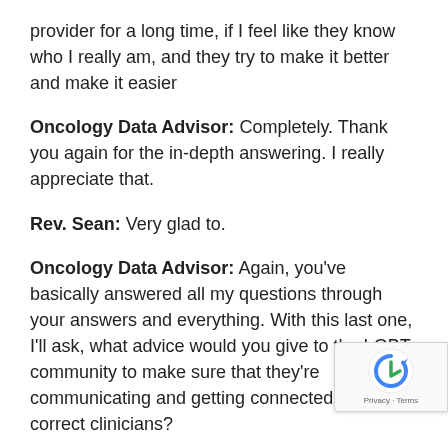provider for a long time, if I feel like they know who I really am, and they try to make it better and make it easier
Oncology Data Advisor: Completely. Thank you again for the in-depth answering. I really appreciate that.
Rev. Sean: Very glad to.
Oncology Data Advisor: Again, you've basically answered all my questions through your answers and everything. With this last one, I'll ask, what advice would you give to the LGBT community to make sure that they're communicating and getting connected with the correct clinicians?
Rev. Sean: It's interesting. At ONS Congress, one of the